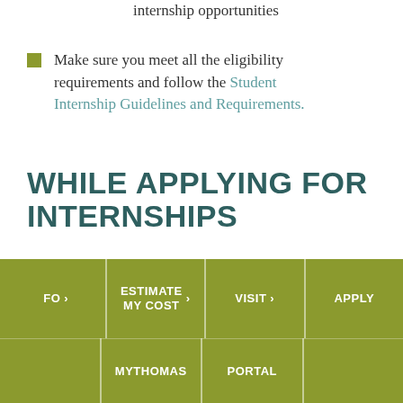internship opportunities
Make sure you meet all the eligibility requirements and follow the Student Internship Guidelines and Requirements.
WHILE APPLYING FOR INTERNSHIPS
As you apply for internships, keep your advisor and Professional and Career Development informed. Get preliminary approval from them to ensure you're on the right track.
FO > | ESTIMATE MY COST > | VISIT > | APPLY | MYTHOMAS | PORTAL